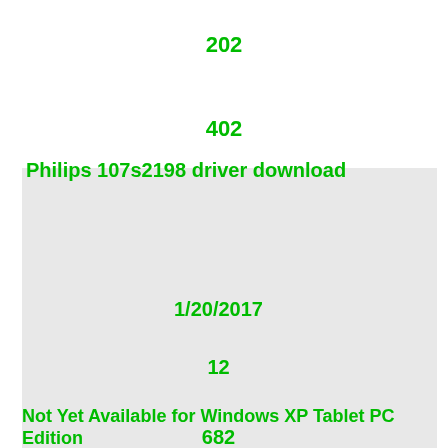202
402
Philips 107s2198 driver download
1/20/2017
12
Not Yet Available for Windows XP Tablet PC Edition
682